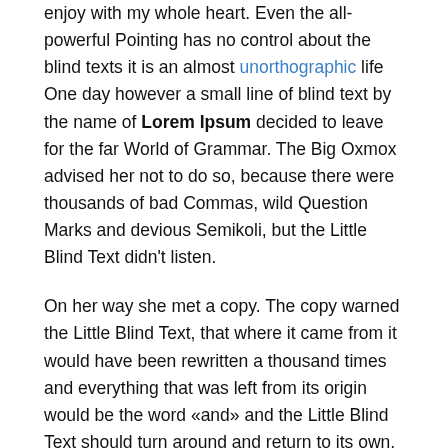enjoy with my whole heart. Even the all-powerful Pointing has no control about the blind texts it is an almost unorthographic life One day however a small line of blind text by the name of Lorem Ipsum decided to leave for the far World of Grammar. The Big Oxmox advised her not to do so, because there were thousands of bad Commas, wild Question Marks and devious Semikoli, but the Little Blind Text didn't listen.
On her way she met a copy. The copy warned the Little Blind Text, that where it came from it would have been rewritten a thousand times and everything that was left from its origin would be the word «and» and the Little Blind Text should turn around and return to its own, safe country.
A wonderful serenity has taken possession of my entire soul, like these sweet mornings of spring which I